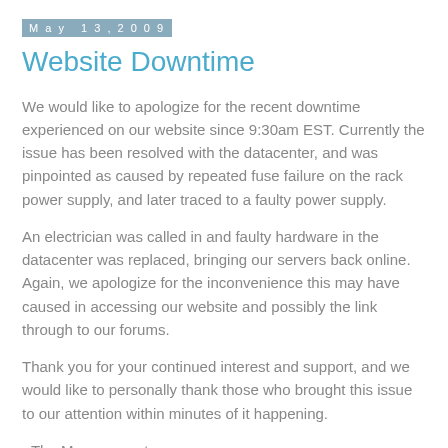May 13, 2009
Website Downtime
We would like to apologize for the recent downtime experienced on our website since 9:30am EST. Currently the issue has been resolved with the datacenter, and was pinpointed as caused by repeated fuse failure on the rack power supply, and later traced to a faulty power supply.
An electrician was called in and faulty hardware in the datacenter was replaced, bringing our servers back online. Again, we apologize for the inconvenience this may have caused in accessing our website and possibly the link through to our forums.
Thank you for your continued interest and support, and we would like to personally thank those who brought this issue to our attention within minutes of it happening.
- The Management